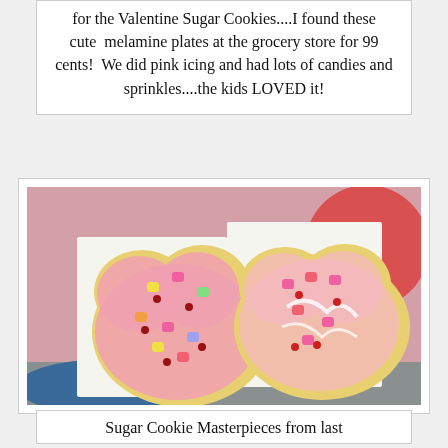for the Valentine Sugar Cookies....I found these cute melamine plates at the grocery store for 99 cents! We did pink icing and had lots of candies and sprinkles....the kids LOVED it!
[Figure (photo): Two heart-shaped sugar cookies decorated with pink icing, candy hearts, and sprinkles, placed on white napkins on a pink plate. A red letter plate partially visible in the top right corner.]
Sugar Cookie Masterpieces from last